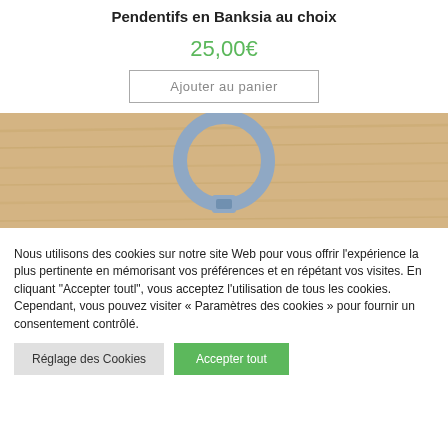Pendentifs en Banksia au choix
25,00€
Ajouter au panier
[Figure (photo): Close-up photo of a silver/blue circular ring pendant on a wooden surface]
Nous utilisons des cookies sur notre site Web pour vous offrir l'expérience la plus pertinente en mémorisant vos préférences et en répétant vos visites. En cliquant "Accepter toutl", vous acceptez l'utilisation de tous les cookies. Cependant, vous pouvez visiter « Paramètres des cookies » pour fournir un consentement contrôlé.
Réglage des Cookies
Accepter tout